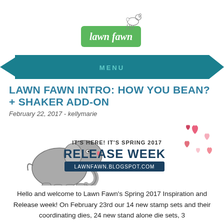[Figure (logo): Lawn Fawn brand logo with a small deer illustration on a green rectangle with 'lawn fawn' in script text]
[Figure (illustration): Teal ribbon banner with 'MENU' text in the center]
LAWN FAWN INTRO: HOW YOU BEAN? + SHAKER ADD-ON
February 22, 2017 - kellymarie
[Figure (illustration): Spring 2017 Release Week promotional banner with a cute elephant illustration and scattered hearts, text reads IT'S HERE! IT'S SPRING 2017 RELEASE WEEK LAWNFAWN.BLOGSPOT.COM]
Hello and welcome to Lawn Fawn's Spring 2017 Inspiration and Release week! On February 23rd our 14 new stamp sets and their coordinating dies, 24 new stand alone die sets, 3